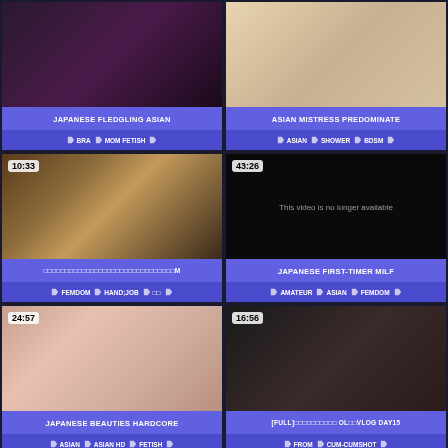[Figure (screenshot): Video thumbnail - Japanese Fledgling Asian. Tags: BRA, MOM FETISH]
[Figure (screenshot): Video thumbnail - Asian Mistress Predominate. Tags: ASIAN, SHOWER, BDSM]
[Figure (screenshot): Video thumbnail - Japanese content, 10:33 duration. Tags: FEMDOM, HAND;JOB]
[Figure (screenshot): Video thumbnail - Japanese First-Timer Milf, 43:26 duration. This video is no longer available. Tags: AMATEUR, ASIAN, FEMDOM]
[Figure (screenshot): Video thumbnail - Japanese Beauties Hardcore, 24:57 duration. Tags: ASIAN, ASIAN HD, FETISH]
[Figure (screenshot): Video thumbnail - [FULL] OL VLOG DAY15, 16:56 duration. Tags: FROM, CUM-CUMSHOT]